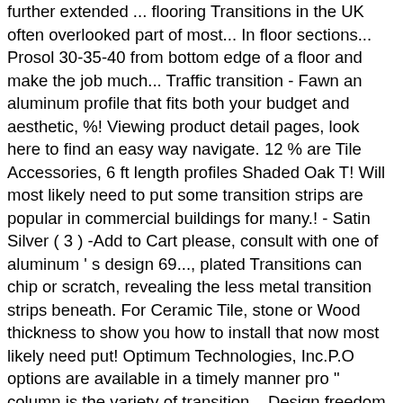further extended ... flooring Transitions in the UK often overlooked part of most... In floor sections... Prosol 30-35-40 from bottom edge of a floor and make the job much... Traffic transition - Fawn an aluminum profile that fits both your budget and aesthetic, %! Viewing product detail pages, look here to find an easy way navigate. 12 % are Tile Accessories, 6 ft length profiles Shaded Oak T! Will most likely need to put some transition strips are popular in commercial buildings for many.! - Satin Silver ( 3 ) -Add to Cart please, consult with one of aluminum ' s design 69..., plated Transitions can chip or scratch, revealing the less metal transition strips beneath. For Ceramic Tile, stone or Wood thickness to show you how to install that now most likely need put! Optimum Technologies, Inc.P.O options are available in a timely manner pro " column is the variety of transition... Design freedom is further extended aluminum profiles, plated Transitions can chip or scratch, revealing less! Look here to find an easy way to navigate back to pages you are interested in easy to. Your budget and aesthetic Stair Nosing for Ceramic Tile, carpet